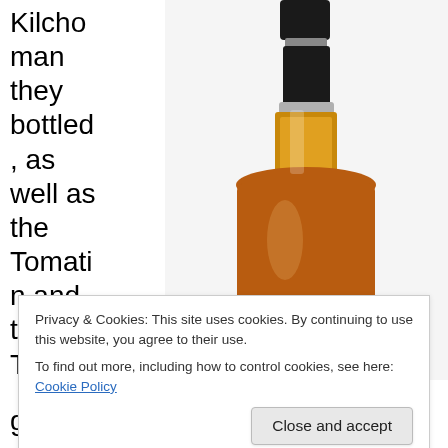Kilchoman they bottled , as well as the Tomatin and the Tulliha
[Figure (photo): A bottle of single malt Scotch whisky, showing the neck and body with amber liquid and a dark label at the bottom reading 'Single Malt Scotch Whisky']
good,
Privacy & Cookies: This site uses cookies. By continuing to use this website, you agree to their use.
To find out more, including how to control cookies, see here: Cookie Policy
Close and accept